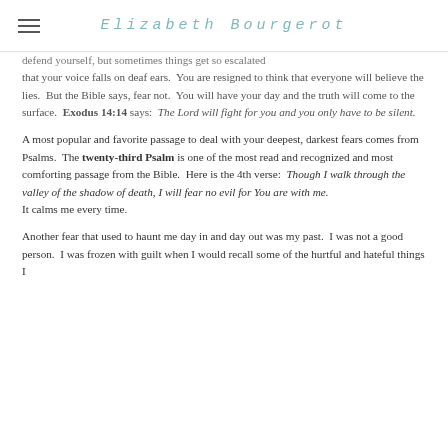Elizabeth Bourgerot
defend yourself, but sometimes things get so escalated that your voice falls on deaf ears.  You are resigned to think that everyone will believe the lies.  But the Bible says, fear not.  You will have your day and the truth will come to the surface.  Exodus 14:14 says:  The Lord will fight for you and you only have to be silent.
A most popular and favorite passage to deal with your deepest, darkest fears comes from Psalms.  The twenty-third Psalm is one of the most read and recognized and most comforting passage from the Bible.  Here is the 4th verse:  Though I walk through the valley of the shadow of death, I will fear no evil for You are with me.
It calms me every time.
Another fear that used to haunt me day in and day out was my past.  I was not a good person.  I was frozen with guilt when I would recall some of the hurtful and hateful things I